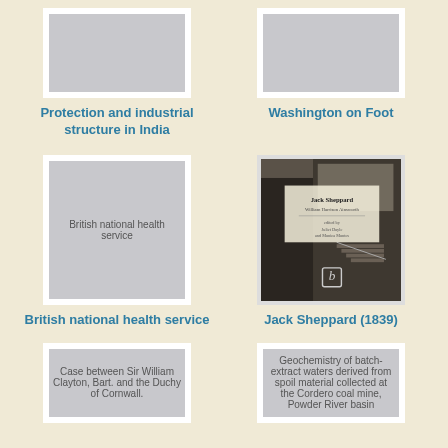[Figure (illustration): Placeholder book cover for 'Protection and industrial structure in India']
Protection and industrial structure in India
[Figure (illustration): Placeholder book cover for 'Washington on Foot']
Washington on Foot
[Figure (illustration): Placeholder book cover with text 'British national health service']
British national health service
[Figure (photo): Black and white photo book cover for 'Jack Sheppard (1839)' showing a Victorian alley scene with stairs, brick buildings, and a person]
Jack Sheppard (1839)
[Figure (illustration): Placeholder book cover with text 'Case between Sir William Clayton, Bart. and the Duchy of Cornwall.']
[Figure (illustration): Placeholder book cover with text 'Geochemistry of batch-extract waters derived from spoil material collected at the Cordero coal mine, Powder River basin']